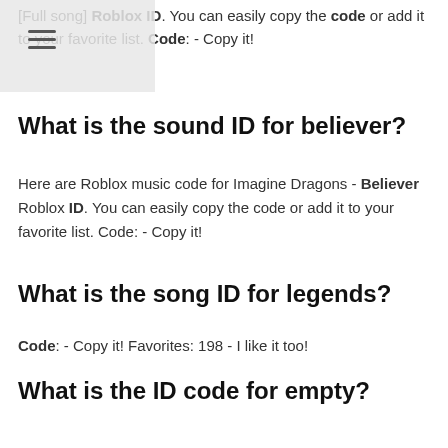[Full song] Roblox ID. You can easily copy the code or add it to your favorite list. Code: - Copy it!
What is the sound ID for believer?
Here are Roblox music code for Imagine Dragons - Believer Roblox ID. You can easily copy the code or add it to your favorite list. Code: - Copy it!
What is the song ID for legends?
Code: - Copy it! Favorites: 198 - I like it too!
What is the ID code for empty?
Here are Roblox music code for Juice WRLD - Empty Roblox ID. You can easily copy the code or add it to your favorite list. Code: - Copy it!